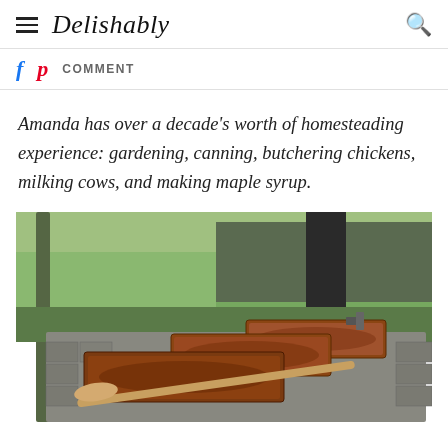Delishably
COMMENT
Amanda has over a decade's worth of homesteading experience: gardening, canning, butchering chickens, milking cows, and making maple syrup.
[Figure (photo): Outdoor maple syrup evaporator setup with metal pans containing brown sap/syrup on a cinder block structure, with a wooden paddle resting across the pans. Green lawn visible in background.]